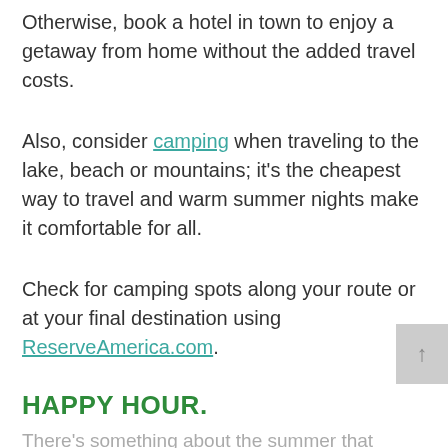Otherwise, book a hotel in town to enjoy a getaway from home without the added travel costs.
Also, consider camping when traveling to the lake, beach or mountains; it's the cheapest way to travel and warm summer nights make it comfortable for all.
Check for camping spots along your route or at your final destination using ReserveAmerica.com.
HAPPY HOUR.
There's something about the summer that beckons